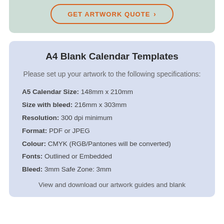[Figure (other): Button with orange border and text 'GET ARTWORK QUOTE >' on a light green/teal background section]
A4 Blank Calendar Templates
Please set up your artwork to the following specifications:
A5 Calendar Size: 148mm x 210mm
Size with bleed: 216mm x 303mm
Resolution: 300 dpi minimum
Format: PDF or JPEG
Colour: CMYK (RGB/Pantones will be converted)
Fonts: Outlined or Embedded
Bleed: 3mm Safe Zone: 3mm
View and download our artwork guides and blank